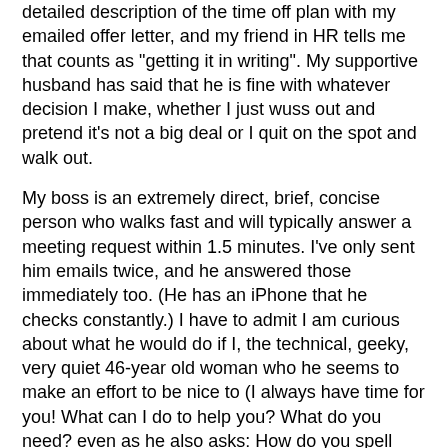detailed description of the time off plan with my emailed offer letter, and my friend in HR tells me that counts as "getting it in writing". My supportive husband has said that he is fine with whatever decision I make, whether I just wuss out and pretend it's not a big deal or I quit on the spot and walk out.
My boss is an extremely direct, brief, concise person who walks fast and will typically answer a meeting request within 1.5 minutes. I've only sent him emails twice, and he answered those immediately too. (He has an iPhone that he checks constantly.) I have to admit I am curious about what he would do if I, the technical, geeky, very quiet 46-year old woman who he seems to make an effort to be nice to (I always have time for you! What can I do to help you? What do you need? even as he also asks: How do you spell your first name?), just got in his face and declared anything other than honoring what I was promised would be UNACCEPTABLE and he must FIX IT now or I would MARCH OUT.
The problem is, there's at least a 30% chance he would stand up and yell right back at me, at which time I would completely crumble and start sobbing. Ummm.